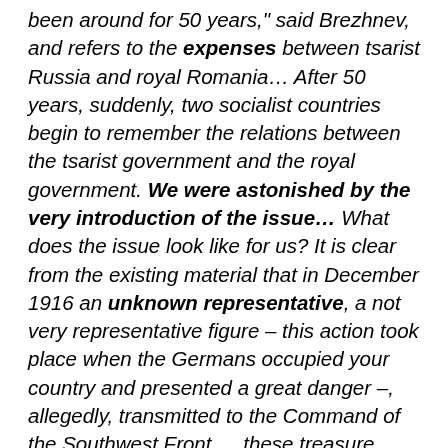been around for 50 years," said Brezhnev, and refers to the expenses between tsarist Russia and royal Romania… After 50 years, suddenly, two socialist countries begin to remember the relations between the tsarist government and the royal government. We were astonished by the very introduction of the issue… What does the issue look like for us? It is clear from the existing material that in December 1916 an unknown representative, a not very representative figure – this action took place when the Germans occupied your country and presented a great danger –, allegedly, transmitted to the Command of the Southwest Front … these treasure boxes… they were transmitted on trust… What happened next? Tsarism has been removed and all these boxes have fallen into the hands of the interim